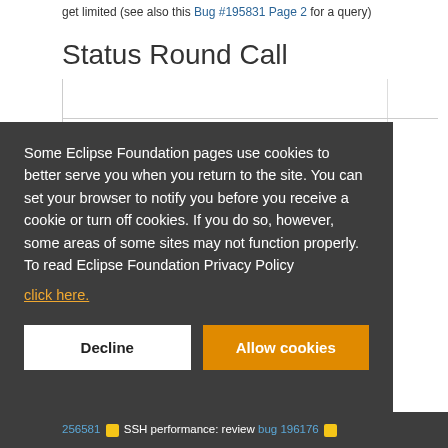get limited (see also this Bug #195831 Page 2 for a query)
Status Round Call
Some Eclipse Foundation pages use cookies to better serve you when you return to the site. You can set your browser to notify you before you receive a cookie or turn off cookies. If you do so, however, some areas of some sites may not function properly. To read Eclipse Foundation Privacy Policy click here.
Decline
Allow cookies
256581 🔒 SSH performance: review bug 196176 🔒